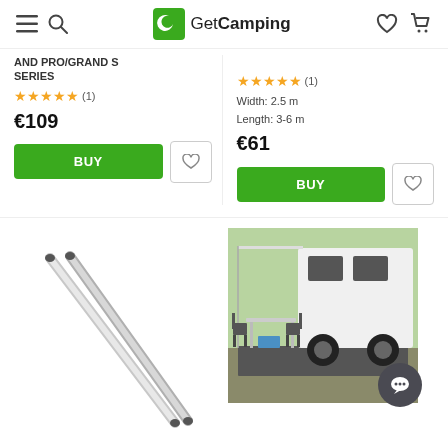GetCamping
AND PRO/GRAND S SERIES
★★★★★ (1)
€109
BUY
Width: 2.5 m
Length: 3-6 m
★★★★★ (1)
€61
BUY
[Figure (photo): Two silver/grey telescopic poles leaning diagonally]
[Figure (photo): White camper van with awning extended, outdoor table and chairs set up on grass]